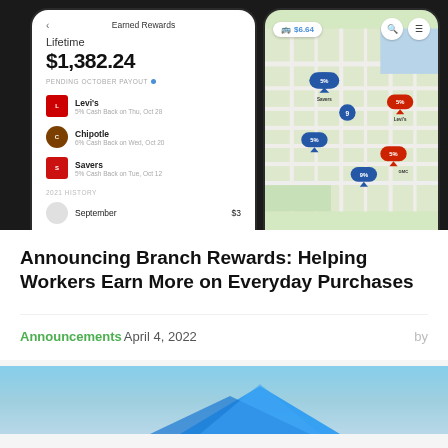[Figure (screenshot): Two smartphone screenshots side by side on dark background. Left phone shows an 'Earned Rewards' screen with Lifetime $1,382.24, pending October payout, and transactions for Levi's (5% Cash Back on Thu, Oct 28), Chipotle (6% Cash Back on Wed, Oct 20), Savers (5% Cash Back on Tue, Oct 12), and 2021 History with September. Right phone shows a map with location pins showing cash back percentages (5%, 5%, 9%) at various stores including Savers, Levi's, GMC, and others, with $6.64 balance shown at top.]
Announcing Branch Rewards: Helping Workers Earn More on Everyday Purchases
Announcements April 4, 2022 by